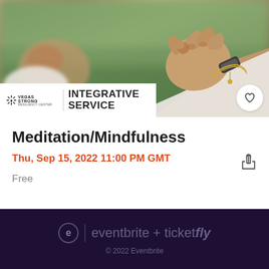[Figure (photo): Meditation hands in lotus position close-up photo, two hands making mudra gestures, blurred green background, person wearing white clothing and bracelet]
Meditation/Mindfulness
Thu, Sep 15, 2022 11:00 PM GMT
Free
eventbrite + ticketfly
© 2022 Eventbrite